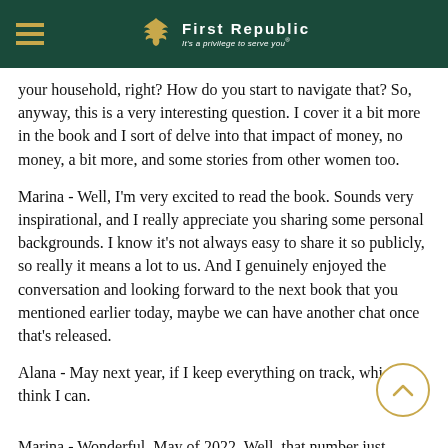First Republic — It's a privilege to serve you®
your household, right? How do you start to navigate that? So, anyway, this is a very interesting question. I cover it a bit more in the book and I sort of delve into that impact of money, no money, a bit more, and some stories from other women too.
Marina - Well, I'm very excited to read the book. Sounds very inspirational, and I really appreciate you sharing some personal backgrounds. I know it's not always easy to share it so publicly, so really it means a lot to us. And I genuinely enjoyed the conversation and looking forward to the next book that you mentioned earlier today, maybe we can have another chat once that's released.
Alana - May next year, if I keep everything on track, which I think I can.
Marina - Wonderful, May of 2022. Well, that number just sounds crazy to me. Sounds very futuristic.